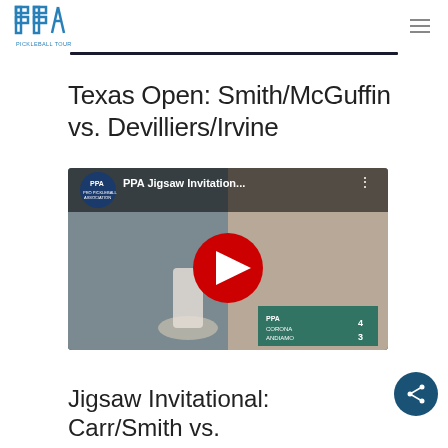PPA PICKLEBALL TOUR
Texas Open: Smith/McGuffin vs. Devilliers/Irvine
[Figure (screenshot): YouTube video thumbnail showing PPA Jigsaw Invitation... with play button overlay, pickleball player in action, PPA logo top left]
Jigsaw Invitational: Carr/Smith vs.